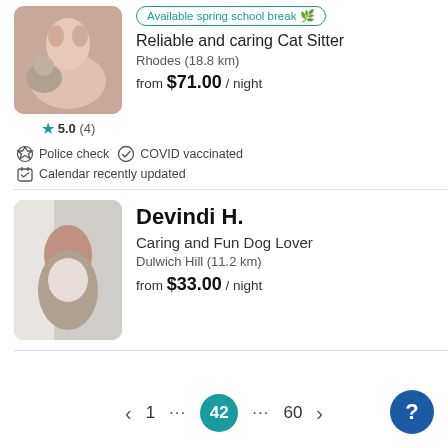[Figure (photo): Profile photo of a woman with a cat]
5.0 (4)
Available spring school break
Reliable and caring Cat Sitter
Rhodes (18.8 km)
from $71.00 / night
Police check
COVID vaccinated
Calendar recently updated
[Figure (photo): Profile photo of Devindi H. holding a dog]
Devindi H.
Caring and Fun Dog Lover
Dulwich Hill (11.2 km)
from $33.00 / night
1 ... 42 ... 60